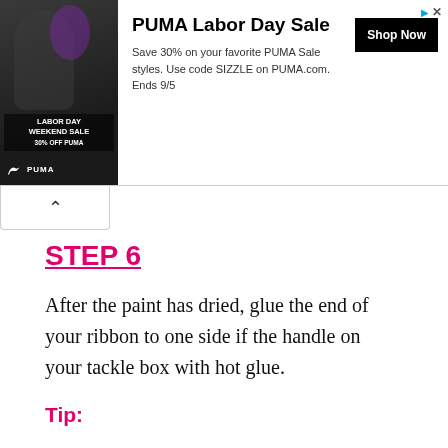[Figure (advertisement): PUMA Labor Day Sale advertisement banner with an image of an athlete and PUMA logo, text: Save 30% on your favorite PUMA Sale styles. Use code SIZZLE on PUMA.com. Ends 9/5, and a Shop Now button.]
STEP 6
After the paint has dried, glue the end of your ribbon to one side if the handle on your tackle box with hot glue.
Tip:
If possible, remove your handle from the